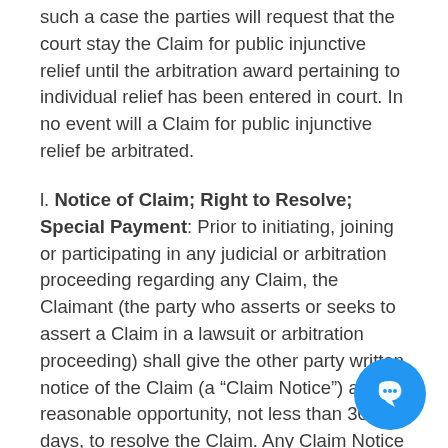such a case the parties will request that the court stay the Claim for public injunctive relief until the arbitration award pertaining to individual relief has been entered in court. In no event will a Claim for public injunctive relief be arbitrated.
l. Notice of Claim; Right to Resolve; Special Payment: Prior to initiating, joining or participating in any judicial or arbitration proceeding regarding any Claim, the Claimant (the party who asserts or seeks to assert a Claim in a lawsuit or arbitration proceeding) shall give the other party written notice of the Claim (a “Claim Notice”) and a reasonable opportunity, not less than 30 days, to resolve the Claim. Any Claim Notice you send must include your name, address, telephone number and loan or account number. Any Claim Notice must explain